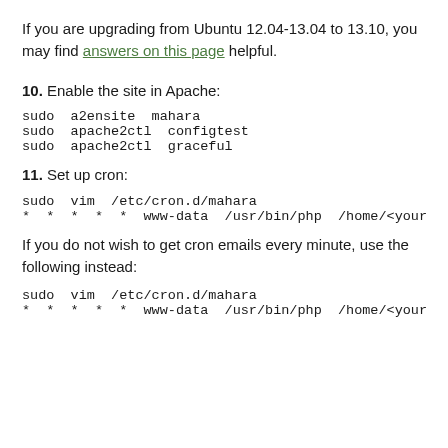If you are upgrading from Ubuntu 12.04-13.04 to 13.10, you may find answers on this page helpful.
10. Enable the site in Apache:
sudo a2ensite mahara
sudo apache2ctl configtest
sudo apache2ctl graceful
11. Set up cron:
sudo vim /etc/cron.d/mahara
* * * * * www-data /usr/bin/php /home/<your
If you do not wish to get cron emails every minute, use the following instead:
sudo vim /etc/cron.d/mahara
* * * * * www-data /usr/bin/php /home/<your